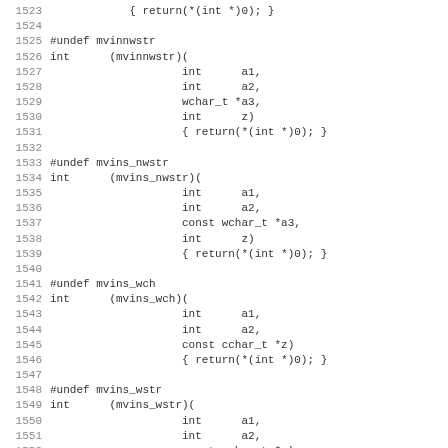Source code listing lines 1523-1555, C function stubs for mvinnwstr, mvins_nwstr, mvins_wch, mvins_wstr, and the beginning of mvinwstr